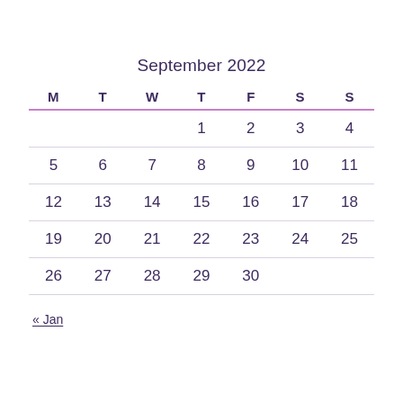September 2022
| M | T | W | T | F | S | S |
| --- | --- | --- | --- | --- | --- | --- |
|  |  |  | 1 | 2 | 3 | 4 |
| 5 | 6 | 7 | 8 | 9 | 10 | 11 |
| 12 | 13 | 14 | 15 | 16 | 17 | 18 |
| 19 | 20 | 21 | 22 | 23 | 24 | 25 |
| 26 | 27 | 28 | 29 | 30 |  |  |
« Jan